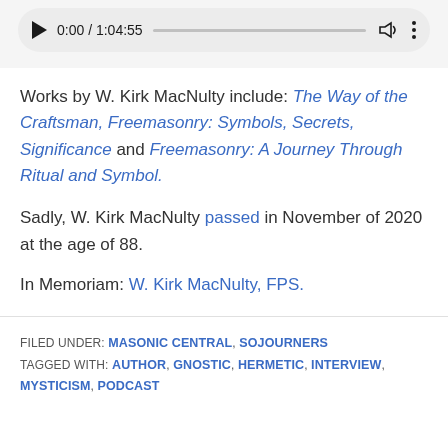[Figure (screenshot): Audio player control bar showing play button, time display 0:00 / 1:04:55, progress bar, volume icon, and more options icon]
Works by W. Kirk MacNulty include: The Way of the Craftsman, Freemasonry: Symbols, Secrets, Significance and Freemasonry: A Journey Through Ritual and Symbol.
Sadly, W. Kirk MacNulty passed in November of 2020 at the age of 88.
In Memoriam: W. Kirk MacNulty, FPS.
FILED UNDER: MASONIC CENTRAL, SOJOURNERS
TAGGED WITH: AUTHOR, GNOSTIC, HERMETIC, INTERVIEW, MYSTICISM, PODCAST